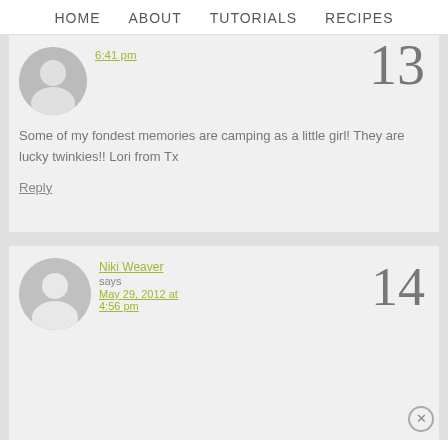HOME   ABOUT   TUTORIALS   RECIPES
6:41 pm
Some of my fondest memories are camping as a little girl! They are lucky twinkies!! Lori from Tx
Reply
Niki Weaver says May 29, 2012 at 4:56 pm